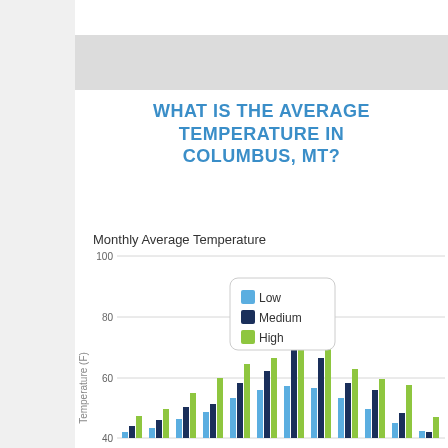WHAT IS THE AVERAGE TEMPERATURE IN COLUMBUS, MT?
[Figure (grouped-bar-chart): Monthly Average Temperature]